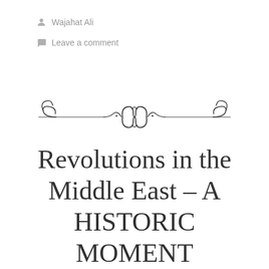Wajahat Ali
Leave a comment
[Figure (illustration): Decorative ornamental divider with scrollwork and floral motifs in dark ink]
Revolutions in the Middle East – A HISTORIC MOMENT